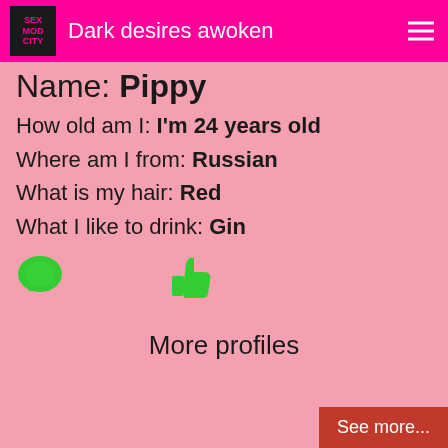Dark desires awoken
Name: Pippy
How old am I: I'm 24 years old
Where am I from: Russian
What is my hair: Red
What I like to drink: Gin
[Figure (other): Green chat bubble icon and green thumbs up icon]
More profiles
See more...